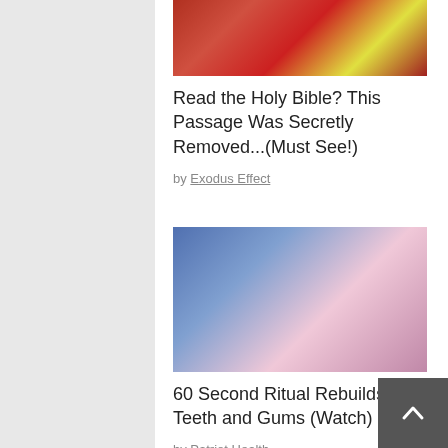[Figure (photo): Photo of rambutan or similar red spiky tropical fruit cut open]
Read the Holy Bible? This Passage Was Secretly Removed...(Must See!)
by Exodus Effect
[Figure (photo): Photo of a woman examining her face/skin]
Do This Immediately if You Have Moles or Skin Tags, It's Genius
by Smart Life Reports
[Figure (photo): Photo of a woman at the dentist with blue-gloved hands]
60 Second Ritual Rebuilds Your Teeth and Gums (Watch)
by Patriot Health Zone
[Figure (photo): Photo of a young man getting something applied to his ear]
New Hearing Discovery is Leaving Doctors Speechless
by Healthier Patriot